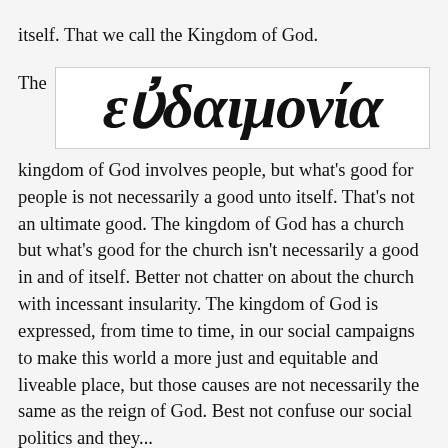itself.  That we call the Kingdom of God.
[Figure (illustration): Large italic Greek word εὐδαιμονία displayed in bold italic serif font inside a white box, preceded by the word 'The']
kingdom of God involves people, but what's good for people is not necessarily a good unto itself.  That's not an ultimate good.  The kingdom of God has a church but what's good for the church isn't necessarily a good in and of itself.  Better not chatter on about the church with incessant insularity.  The kingdom of God is expressed, from time to time, in our social campaigns to make this world a more just and equitable and liveable place, but those causes are not necessarily the same as the reign of God.  Best not confuse our social politics and theology. If you...